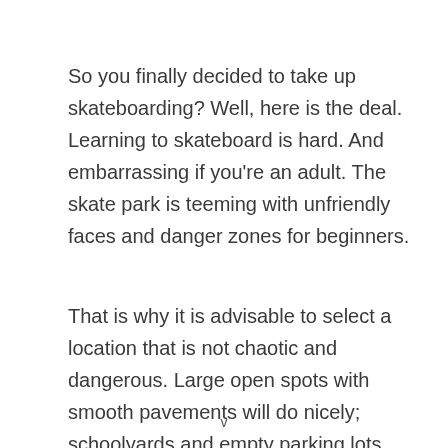So you finally decided to take up skateboarding? Well, here is the deal. Learning to skateboard is hard. And embarrassing if you're an adult. The skate park is teeming with unfriendly faces and danger zones for beginners.
That is why it is advisable to select a location that is not chaotic and dangerous. Large open spots with smooth pavements will do nicely; schoolyards and empty parking lots are also
v